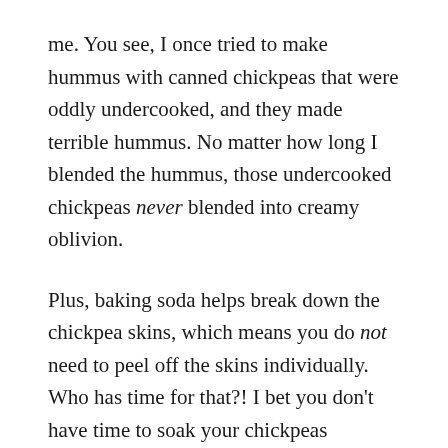me. You see, I once tried to make hummus with canned chickpeas that were oddly undercooked, and they made terrible hummus. No matter how long I blended the hummus, those undercooked chickpeas never blended into creamy oblivion.
Plus, baking soda helps break down the chickpea skins, which means you do not need to peel off the skins individually. Who has time for that?! I bet you don't have time to soak your chickpeas overnight and cook them from scratch like Solomonov, either.
Here's my time-saving solution: Just boil canned or leftover cooked chickpeas with baking soda for twenty minutes.